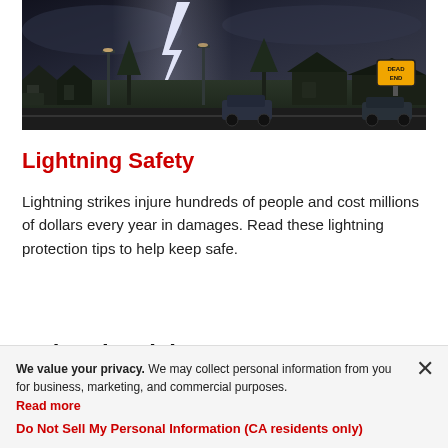[Figure (photo): Night-time suburban street with a dramatic lightning bolt striking the sky above houses, with a 'Dead End' street sign visible on the right side.]
Lightning Safety
Lightning strikes injure hundreds of people and cost millions of dollars every year in damages. Read these lightning protection tips to help keep safe.
Related Articles
We value your privacy. We may collect personal information from you for business, marketing, and commercial purposes. Read more
Do Not Sell My Personal Information (CA residents only)